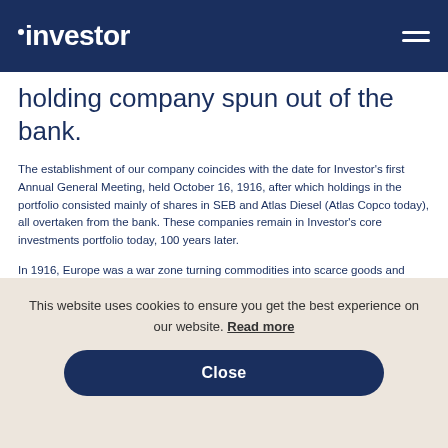investor
holding company spun out of the bank.
The establishment of our company coincides with the date for Investor's first Annual General Meeting, held October 16, 1916, after which holdings in the portfolio consisted mainly of shares in SEB and Atlas Diesel (Atlas Copco today), all overtaken from the bank. These companies remain in Investor's core investments portfolio today, 100 years later.
In 1916, Europe was a war zone turning commodities into scarce goods and pushing inflation to the highest level ever. Like every player on the market, Investor had to struggle through the beginning of the 1920s with dividends payments suspended for seven years and with
This website uses cookies to ensure you get the best experience on our website. Read more
Close